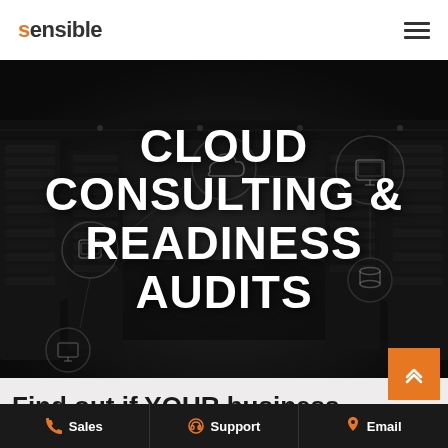sensible
[Figure (screenshot): Dark data center corridor with server racks, overlaid with cloud/device network icons and the text CLOUD CONSULTING & READINESS AUDITS in white bold uppercase letters]
CLOUD CONSULTING & READINESS AUDITS
Find out if YOUR business
Sales  Support  Email